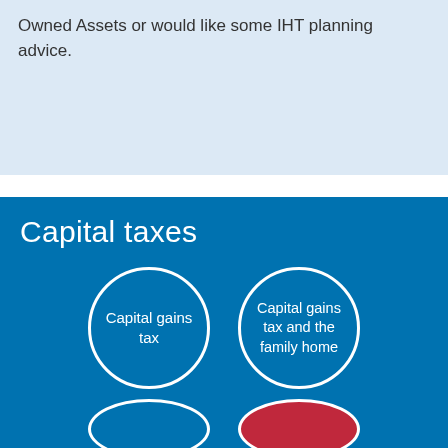Owned Assets or would like some IHT planning advice.
Capital taxes
[Figure (infographic): Two circular buttons on a blue background: 'Capital gains tax' (left circle, white border) and 'Capital gains tax and the family home' (right circle, white border). Below are two partially visible circles (blue and red).]